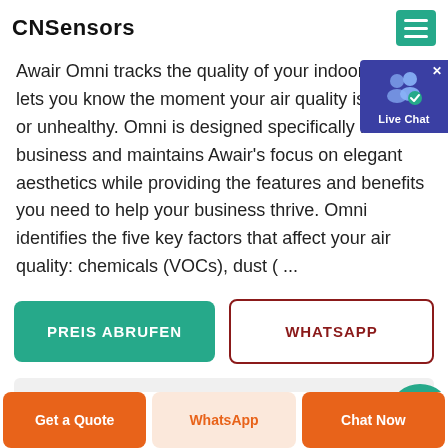CNSensors
Awair Omni tracks the quality of your indoor air and lets you know the moment your air quality is unsafe or unhealthy. Omni is designed specifically for business and maintains Awair’s focus on elegant aesthetics while providing the features and benefits you need to help your business thrive. Omni identifies the five key factors that affect your air quality: chemicals (VOCs), dust ( ...
PREIS ABRUFEN
WHATSAPP
Get a Quote
WhatsApp
Chat Now